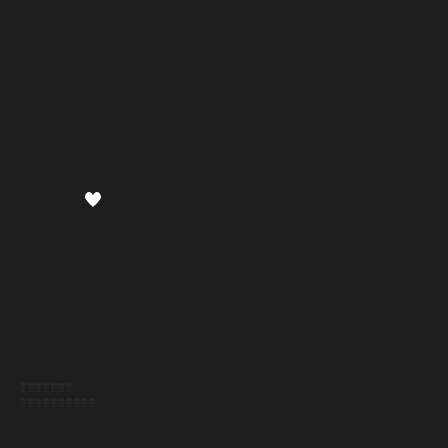[Figure (illustration): Small white heart symbol centered slightly left and above center on a very dark background]
░░░░░░░ ░░░░░░░░░░